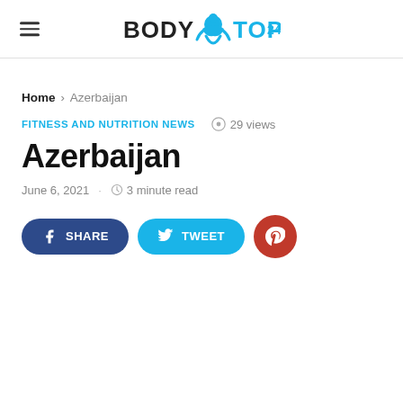BODY TOP 24 (logo)
Home › Azerbaijan
FITNESS AND NUTRITION NEWS   © 29 views
Azerbaijan
June 6, 2021 · 3 minute read
SHARE   TWEET   Pinterest